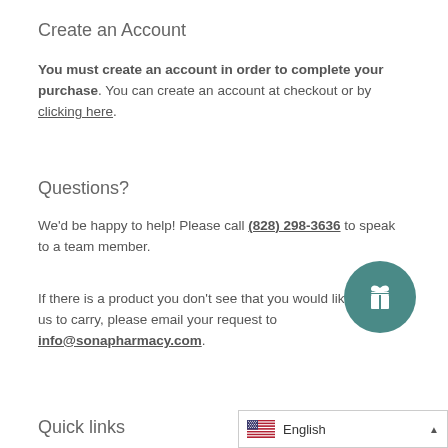Create an Account
You must create an account in order to complete your purchase. You can create an account at checkout or by clicking here.
Questions?
We'd be happy to help! Please call (828) 298-3636 to speak to a team member.
If there is a product you don't see that you would like us to carry, please email your request to info@sonapharmacy.com.
[Figure (illustration): Teal circular button with a gift box icon]
Quick links
[Figure (other): Language selector showing US flag and English with an up arrow]